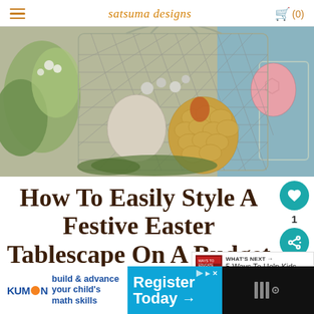≡  satsuma designs  🛒 (0)
[Figure (photo): Photo of a decorative wire birdcage lantern filled with Easter eggs (including golden scale-patterned and pink eggs), white pearl-like beads, and greenery, serving as a festive Easter tablescape centerpiece.]
How To Easily Style A Festive Easter Tablescape On A Budget
WHAT'S NEXT → 5 Ways To Help Kids Gi...
[Figure (advertisement): Kumon ad: 'build & advance your child's math skills' with 'Register Today →' button on blue background.]